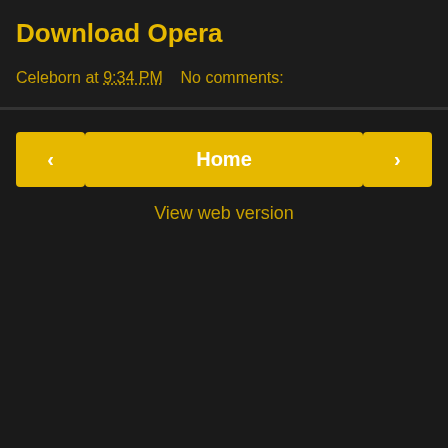Download Opera
Celeborn at 9:34 PM    No comments:
‹  Home  ›
View web version